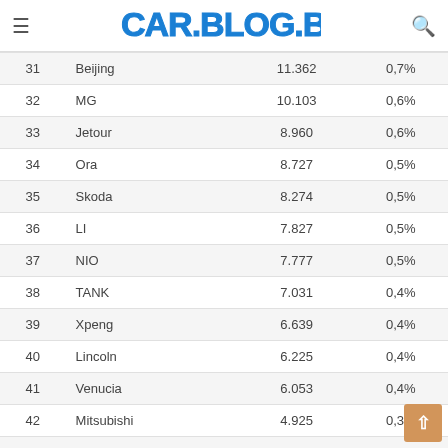CAR.BLOG.BR
| # | Brand | Sales | Share |
| --- | --- | --- | --- |
| 31 | Beijing | 11.362 | 0,7% |
| 32 | MG | 10.103 | 0,6% |
| 33 | Jetour | 8.960 | 0,6% |
| 34 | Ora | 8.727 | 0,5% |
| 35 | Skoda | 8.274 | 0,5% |
| 36 | LI | 7.827 | 0,5% |
| 37 | NIO | 7.777 | 0,5% |
| 38 | TANK | 7.031 | 0,4% |
| 39 | Xpeng | 6.639 | 0,4% |
| 40 | Lincoln | 6.225 | 0,4% |
| 41 | Venucia | 6.053 | 0,4% |
| 42 | Mitsubishi | 4.925 | 0,3% |
| 43 | Sehol (SOL) | 4.633 | 0,3% |